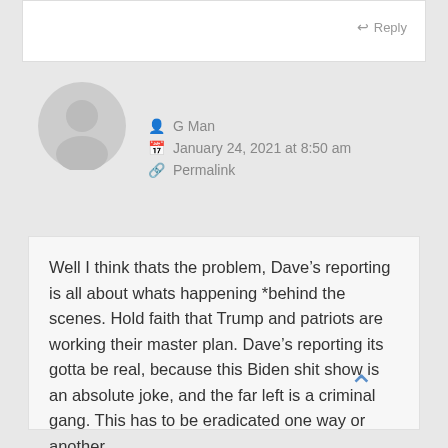Reply
[Figure (illustration): Gray circular user avatar icon with silhouette of a person]
G Man
January 24, 2021 at 8:50 am
Permalink
Well I think thats the problem, Dave’s reporting is all about whats happening *behind the scenes. Hold faith that Trump and patriots are working their master plan. Dave’s reporting its gotta be real, because this Biden shit show is an absolute joke, and the far left is a criminal gang. This has to be eradicated one way or another.